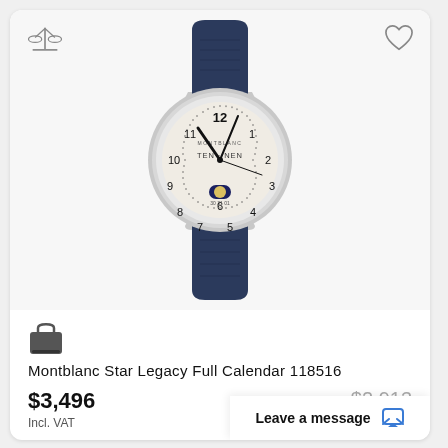[Figure (photo): Montblanc Star Legacy Full Calendar 118516 watch with white dial, moon phase complication, Arabic numerals, and dark navy blue leather strap with silver-tone case]
Montblanc Star Legacy Full Calendar 118516
$3,496
Incl. VAT
$2,913
Leave a message